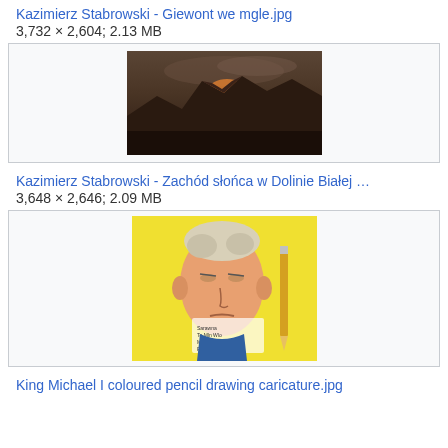Kazimierz Stabrowski - Giewont we mgle.jpg
3,732 × 2,604; 2.13 MB
[Figure (photo): Painting of a dark mountain landscape (Giewont in mist) with a warm glowing peak against a cloudy sky]
Kazimierz Stabrowski - Zachód słońca w Dolinie Białej …
3,648 × 2,646; 2.09 MB
[Figure (illustration): Coloured pencil caricature drawing of King Michael I, showing an exaggerated face with grey hair on a yellow background, with a handwritten inscription]
King Michael I coloured pencil drawing caricature.jpg